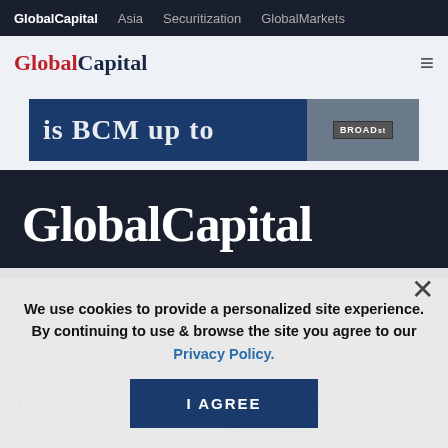GlobalCapital  Asia  Securitization  GlobalMarkets
[Figure (logo): GlobalCapital logo in header bar with hamburger menu icon]
[Figure (screenshot): Banner advertisement with dark blue background and BROAD street sign image]
[Figure (logo): GlobalCapital large white logo on dark navy background hero section]
About Us  Services  Advertising  Contact Us  Our Partners  Feedback  GlobalCapital Events  Social Community
We use cookies to provide a personalized site experience. By continuing to use & browse the site you agree to our Privacy Policy.
I AGREE